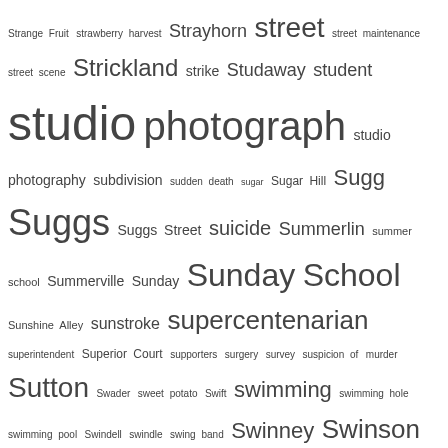[Figure (other): Word cloud / tag cloud listing index terms starting with 'St' through 'Ti', with font size indicating frequency or importance. Terms include Strange Fruit, strawberry harvest, Strayhorn, street, street maintenance, street scene, Strickland, strike, Studaway, student, studio photograph, studio photography, subdivision, sudden death, sugar, Sugar Hill, Sugg, Suggs, Suggs Street, suicide, Summerlin, summer school, Summerville, Sunday, Sunday School, Sunshine Alley, sunstroke, supercentenarian, superintendent, Superior Court, supporters, surgery, survey, suspicion of murder, Sutton, Swader, sweet potato, Swift, swimming, swimming hole, swimming pool, Swindell, swindle, swing band, Swinney, Swinson, Tabernacle Missionary Baptist Church, Tabon, Taborn, Tabourn, Tabron, tailor, Talley, Tampa, Tarboro, Tart, Tartt, tate, tattoo, taxation, taxi, taxidermy, taxi driver, Taybron, Taylor, Taylors township, Taylor township, teacher, teacherage, teachers, Teachey, Teachy, teamster, Tedder, teenager, telegram, tenant, tenant farmer, tenant housing, tenement, tenor, Terrell, territory band, testimonial, testimony, thanks, Thanksgiving, theatre, theft, The Green Book, Thomas, Thompson, Thorn, Thorne, Thorp, Thorpe, Till]